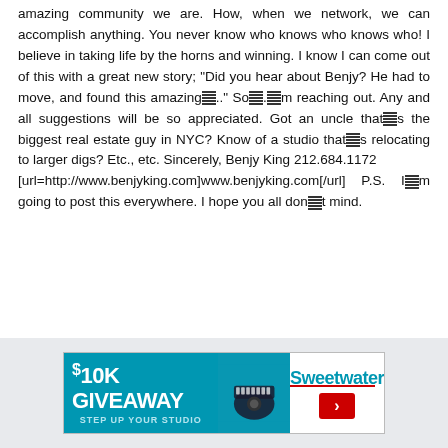amazing community we are. How, when we network, we can accomplish anything. You never know who knows who knows who! I believe in taking life by the horns and winning. I know I can come out of this with a great new story; "Did you hear about Benjy? He had to move, and found this amazing[corrupted].." So[corrupted].[corrupted]m reaching out. Any and all suggestions will be so appreciated. Got an uncle that[corrupted]s the biggest real estate guy in NYC? Know of a studio that[corrupted]s relocating to larger digs? Etc., etc. Sincerely, Benjy King 212.684.1172 [url=http://www.benjyking.com]www.benjyking.com[/url] P.S. I[corrupted]m going to post this everywhere. I hope you all don[corrupted]t mind.
Benjy
[Figure (infographic): $10K GIVEAWAY STEP UP YOUR STUDIO - Sweetwater advertisement banner with keyboard/studio equipment image and red arrow button]